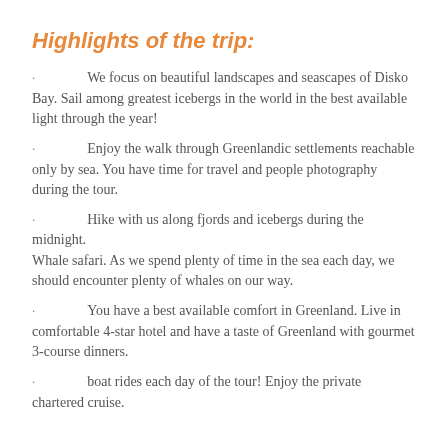Highlights of the trip:
We focus on beautiful landscapes and seascapes of Disko Bay. Sail among greatest icebergs in the world in the best available light through the year!
Enjoy the walk through Greenlandic settlements reachable only by sea. You have time for travel and people photography during the tour.
Hike with us along fjords and icebergs during the midnight.
Whale safari. As we spend plenty of time in the sea each day, we should encounter plenty of whales on our way.
You have a best available comfort in Greenland. Live in comfortable 4-star hotel and have a taste of Greenland with gourmet 3-course dinners.
boat rides each day of the tour! Enjoy the private chartered cruise.